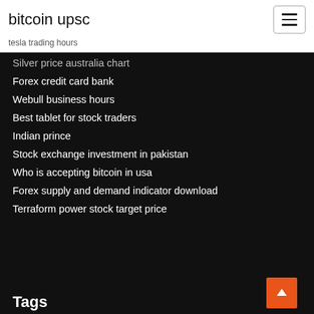bitcoin upsc
tesla trading hours
Silver price australia chart
Forex credit card bank
Webull business hours
Best tablet for stock traders
Indian prince
Stock exchange investment in pakistan
Who is accepting bitcoin in usa
Forex supply and demand indicator download
Terraform power stock target price
Tags